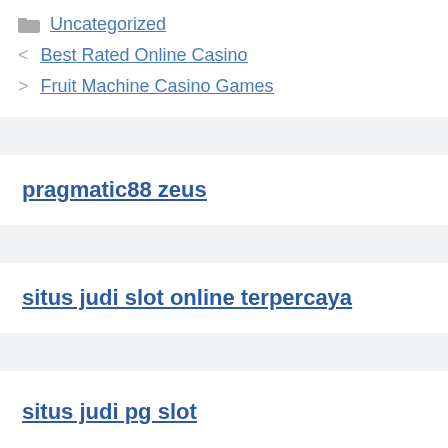Uncategorized
< Best Rated Online Casino
> Fruit Machine Casino Games
pragmatic88 zeus
situs judi slot online terpercaya
situs judi pg slot